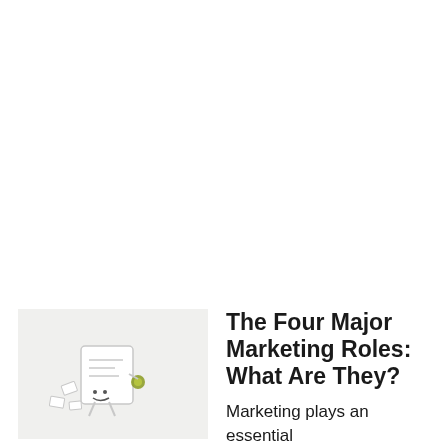[Figure (illustration): A small cartoon illustration of a document/folder character with olive-green accents, appearing to walk or move, set against a light gray background thumbnail.]
The Four Major Marketing Roles: What Are They?
Marketing plays an essential